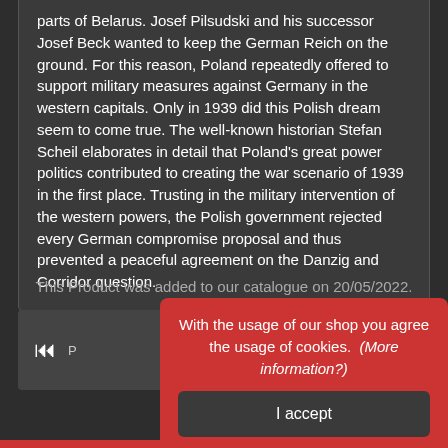parts of Belarus. Josef Pilsudski and his successor Josef Beck wanted to keep the German Reich on the ground. For this reason, Poland repeatedly offered to support military measures against Germany in the western capitals. Only in 1939 did this Polish dream seem to come true. The well-known historian Stefan Scheil elaborates in detail that Poland's great power politics contributed to creating the war scenario of 1939 in the first place. Trusting in the military intervention of the western powers, the Polish government rejected every German compromise proposal and thus prevented a peaceful agreement on the Danzig and Corridor question.
This Product was added to our catalogue on 20/05/2022.
[Figure (other): Navigation control box with skip-to-start icon and partial text on dark background]
With the usage of our shop you agree the usage of cookies.  (More information?)
I accept